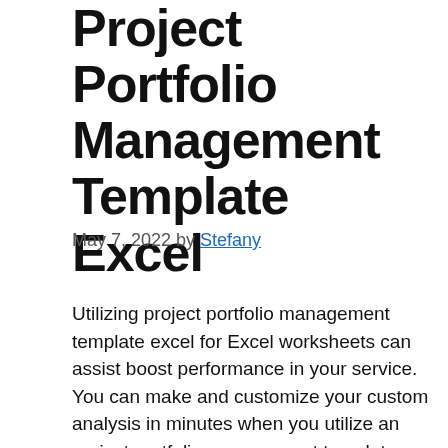Project Portfolio Management Template Excel
May 7, 2022 by Stefany
Utilizing project portfolio management template excel for Excel worksheets can assist boost performance in your service. You can make and customize your custom analysis in minutes when you utilize an project portfolio management template excel . You can share and also publish your customized analysis with others within your firm. Usage project portfolio management template excel to produce: Pipeline